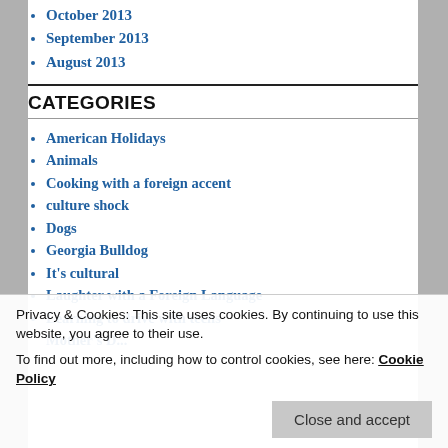October 2013
September 2013
August 2013
CATEGORIES
American Holidays
Animals
Cooking with a foreign accent
culture shock
Dogs
Georgia Bulldog
It's cultural
Laughter with a Foreign Language
Learning to drive with teens
Privacy & Cookies: This site uses cookies. By continuing to use this website, you agree to their use.
To find out more, including how to control cookies, see here: Cookie Policy
Close and accept